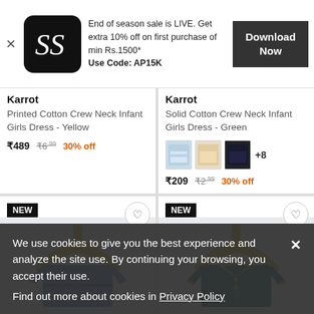[Figure (screenshot): App promotional banner with logo (SS on black rounded square), promotional text about end of season sale, and a Download Now button]
Karrot
Printed Cotton Crew Neck Infant Girls Dress - Yellow
₹489 ₹6.99 30% off
Karrot
Solid Cotton Crew Neck Infant Girls Dress - Green
+8
₹209 ₹2.99 30% off
[Figure (photo): Blue shirt/jacket for infant on a wooden hanger, labeled NEW]
[Figure (photo): Green and yellow polo/jacket for infant on a wooden hanger, labeled NEW]
We use cookies to give you the best experience and analyze the site use. By continuing your browsing, you accept their use.
Find out more about cookies in Privacy Policy